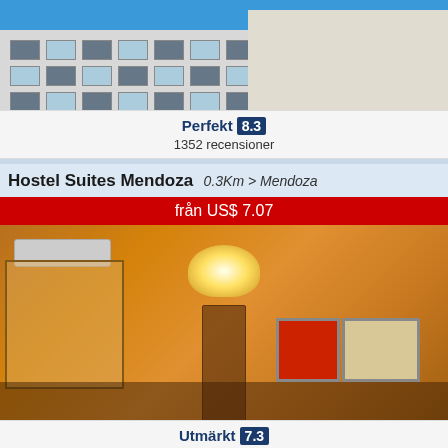[Figure (photo): Top portion of a hotel building exterior with blue sky and white/grey facade]
Perfekt 8.3
1352 recensioner
Hostel Suites Mendoza  0.3Km > Mendoza
från US$ 7.07
[Figure (photo): Hotel room interior with warm orange tones, AC unit, ceiling lamp, window with curtains, and artwork on wall]
Utmärkt 7.3
956 recensioner
Urbana Class Hotel ☆☆☆ 0.54Km > Mendoza
från US$ 55.00